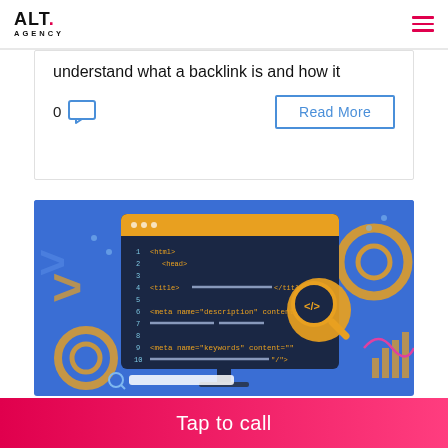ALT. AGENCY
understand what a backlink is and how it
0  Read More
[Figure (illustration): Illustration of a browser/code editor window on a blue background showing HTML code with tags like <html>, <head>, <title>, <meta name='description' content=''>, <meta name='keywords' content=''>, with a magnifying glass icon overlay and golden gear icons, representing SEO/web development concept.]
Tap to call